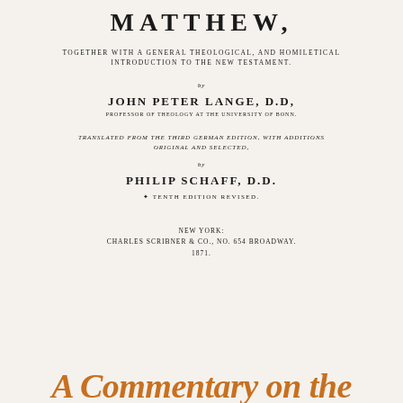MATTHEW,
TOGETHER WITH A GENERAL THEOLOGICAL, AND HOMILETICAL INTRODUCTION TO THE NEW TESTAMENT.
BY
JOHN PETER LANGE, D.D,
PROFESSOR OF THEOLOGY AT THE UNIVERSITY OF BONN.
TRANSLATED FROM THE THIRD GERMAN EDITION, WITH ADDITIONS ORIGINAL AND SELECTED,
BY
PHILIP SCHAFF, D.D.
TENTH EDITION REVISED.
NEW YORK: CHARLES SCRIBNER & CO., No. 654 BROADWAY. 1871.
A Commentary on the